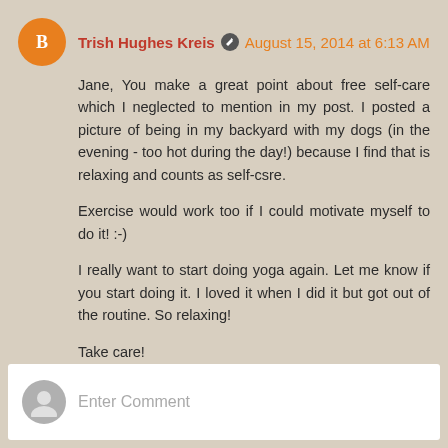Trish Hughes Kreis · August 15, 2014 at 6:13 AM
Jane, You make a great point about free self-care which I neglected to mention in my post. I posted a picture of being in my backyard with my dogs (in the evening - too hot during the day!) because I find that is relaxing and counts as self-csre.
Exercise would work too if I could motivate myself to do it! :-)
I really want to start doing yoga again. Let me know if you start doing it. I loved it when I did it but got out of the routine. So relaxing!
Take care!
Reply